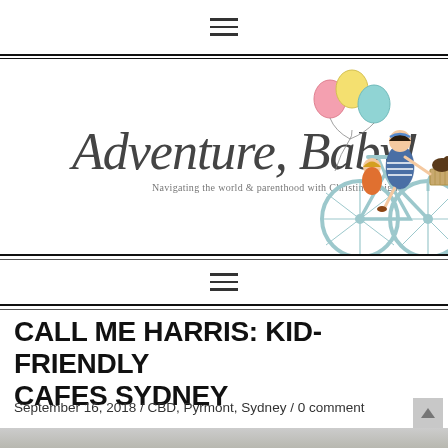☰ (hamburger menu icon)
[Figure (illustration): Adventure, Baby! blog logo — cursive script text 'Adventure, Baby!' with subtitle 'Navigating the world & parenthood with Christine Knight'. Illustration of a woman in a blue striped dress riding a light blue bicycle with a child in a rear seat holding colorful balloons (pink, yellow, teal), and a dog in the front basket.]
☰ (hamburger menu icon)
CALL ME HARRIS: KID-FRIENDLY CAFES SYDNEY
September 16, 2018 / CBD, Pyrmont, Sydney / 0 comment